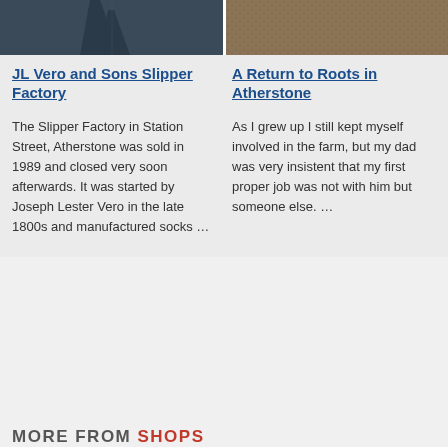[Figure (photo): Aerial or ground-level photo of a dark road or pathway, left column]
[Figure (photo): Close-up photo of brown soil or earth, right column]
JL Vero and Sons Slipper Factory
The Slipper Factory in Station Street, Atherstone was sold in 1989 and closed very soon afterwards. It was started by Joseph Lester Vero in the late 1800s and manufactured socks …
A Return to Roots in Atherstone
As I grew up I still kept myself involved in the farm, but my dad was very insistent that my first proper job was not with him but someone else. …
MORE FROM SHOPS